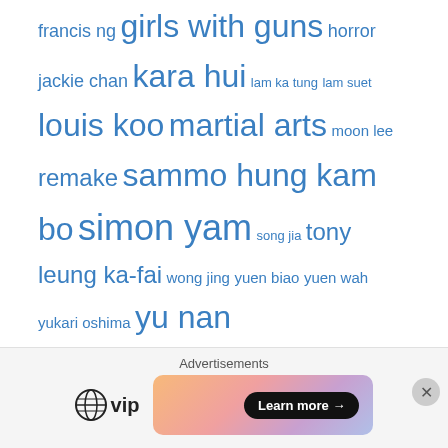francis ng girls with guns horror jackie chan kara hui lam ka tung lam suet louis koo martial arts moon lee remake sammo hung kam bo simon yam song jia tony leung ka-fai wong jing yuen biao yuen wah yukari oshima yu nan
Request a review
Name (required)
[Figure (other): WordPress VIP advertisement banner with 'Learn more →' button on a gradient background]